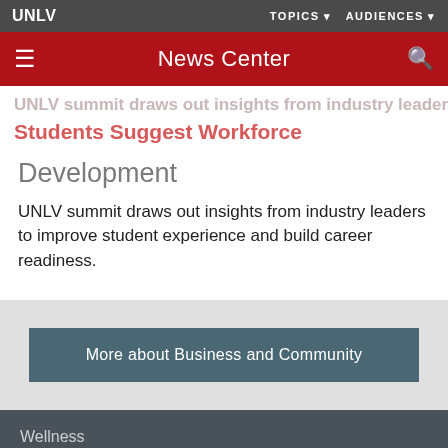UNLV   TOPICS ▾   AUDIENCES ▾
News Center
Development
UNLV summit draws out insights from industry leaders to improve student experience and build career readiness.
More about Business and Community
Wellness
Coronavirus Information
Safety and Emergency